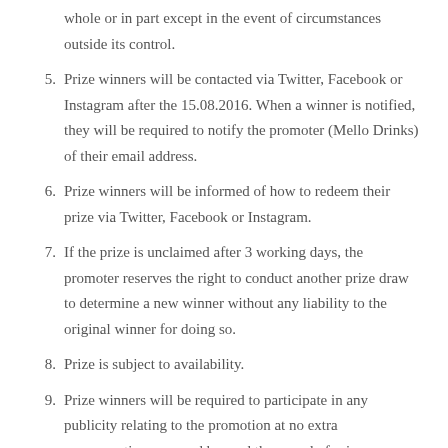whole or in part except in the event of circumstances outside its control.
5. Prize winners will be contacted via Twitter, Facebook or Instagram after the 15.08.2016. When a winner is notified, they will be required to notify the promoter (Mello Drinks) of their email address.
6. Prize winners will be informed of how to redeem their prize via Twitter, Facebook or Instagram.
7. If the prize is unclaimed after 3 working days, the promoter reserves the right to conduct another prize draw to determine a new winner without any liability to the original winner for doing so.
8. Prize is subject to availability.
9. Prize winners will be required to participate in any publicity relating to the promotion at no extra compensation over and beyond the award of prizes.